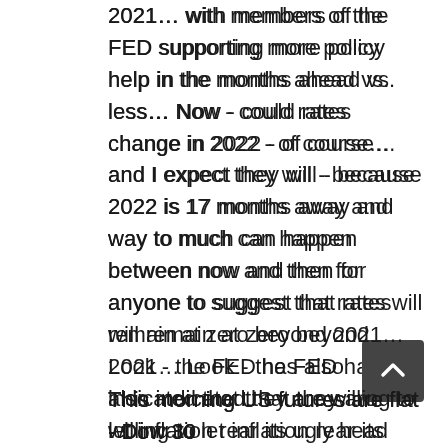2021… with members of the FED supporting more policy help in the months ahead vs. less… Now - could rates change in 2022 - of course… and I expect they will - because 2022 is 17 months away and way to much can happen between now and then for anyone to suggest that rates will remain at zero beyond 2021… Look - the FED has also indicated that they are willing to let inflation rear its ugly head before they move significantly on rates… which I think is a mistake because when inflation begins to move - I think it will spike higher leaving the FED with no option but to become more aggressive - causing rates to rise by full point percentages vs. fractions of a point - but hey… what do I know…
This morning US futures are flat - Dow 30